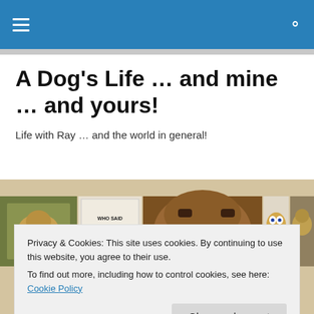Navigation bar with hamburger menu and search icon
A Dog's Life … and mine … and yours!
Life with Ray … and the world in general!
[Figure (photo): Banner strip of dog photos and book covers on a tan/beige background]
Privacy & Cookies: This site uses cookies. By continuing to use this website, you agree to their use.
To find out more, including how to control cookies, see here: Cookie Policy
Close and accept
II